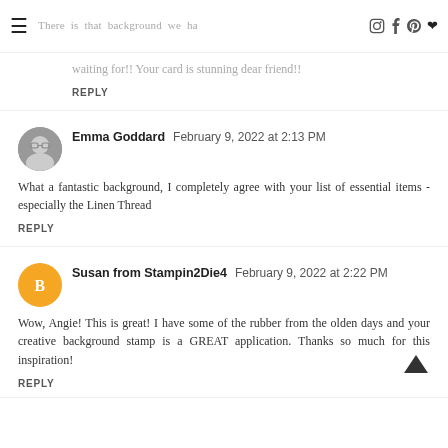There is that background we ha... waiting for!! Your card is stunning dear friend!!
REPLY
Emma Goddard February 9, 2022 at 2:13 PM
What a fantastic background, I completely agree with your list of essential items - especially the Linen Thread
REPLY
Susan from Stampin2Die4 February 9, 2022 at 2:22 PM
Wow, Angie! This is great! I have some of the rubber from the olden days and your creative background stamp is a GREAT application. Thanks so much for this inspiration!
REPLY